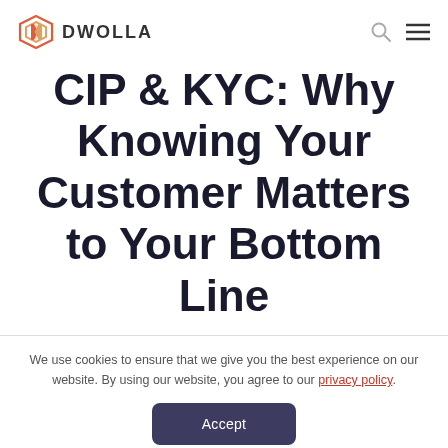DWOLLA
CIP & KYC: Why Knowing Your Customer Matters to Your Bottom Line
We use cookies to ensure that we give you the best experience on our website. By using our website, you agree to our privacy policy.
Accept